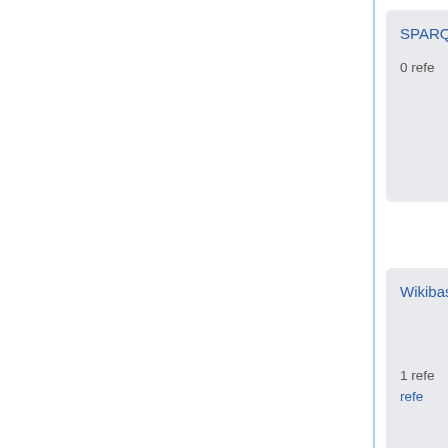SPARQL endpoint
https:...
0 refe...
Wikibase install date
28 Oc...
1 refe...
refe...
refe...
instance of
Wikib...
0 refe...